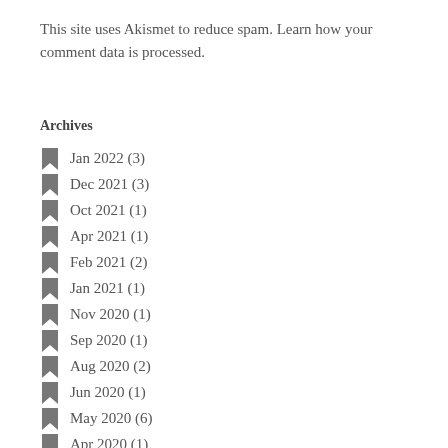This site uses Akismet to reduce spam. Learn how your comment data is processed.
Archives
Jan 2022 (3)
Dec 2021 (3)
Oct 2021 (1)
Apr 2021 (1)
Feb 2021 (2)
Jan 2021 (1)
Nov 2020 (1)
Sep 2020 (1)
Aug 2020 (2)
Jun 2020 (1)
May 2020 (6)
Apr 2020 (1)
Dec 2019 (2)